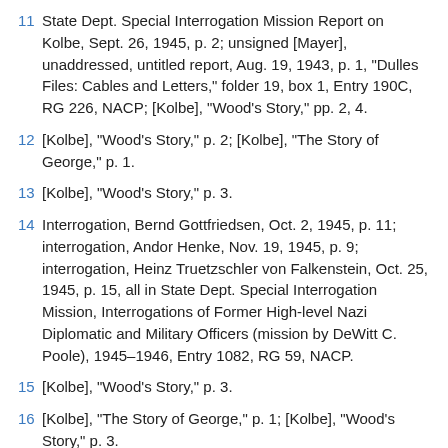11 State Dept. Special Interrogation Mission Report on Kolbe, Sept. 26, 1945, p. 2; unsigned [Mayer], unaddressed, untitled report, Aug. 19, 1943, p. 1, "Dulles Files: Cables and Letters," folder 19, box 1, Entry 190C, RG 226, NACP; [Kolbe], "Wood's Story," pp. 2, 4.
12 [Kolbe], "Wood's Story," p. 2; [Kolbe], "The Story of George," p. 1.
13 [Kolbe], "Wood's Story," p. 3.
14 Interrogation, Bernd Gottfriedsen, Oct. 2, 1945, p. 11; interrogation, Andor Henke, Nov. 19, 1945, p. 9; interrogation, Heinz Truetzschler von Falkenstein, Oct. 25, 1945, p. 15, all in State Dept. Special Interrogation Mission, Interrogations of Former High-level Nazi Diplomatic and Military Officers (mission by DeWitt C. Poole), 1945–1946, Entry 1082, RG 59, NACP.
15 [Kolbe], "Wood's Story," p. 3.
16 [Kolbe], "The Story of George," p. 1; [Kolbe], "Wood's Story," p. 3.